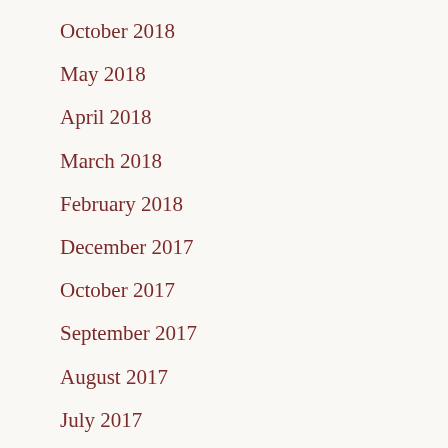October 2018
May 2018
April 2018
March 2018
February 2018
December 2017
October 2017
September 2017
August 2017
July 2017
June 2017
May 2017
April 2017
March 2017